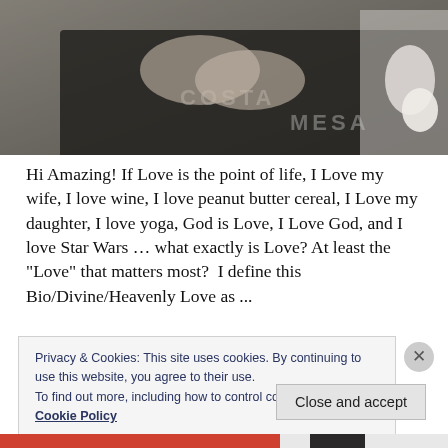[Figure (photo): Black and white photo showing hands making a heart shape, person wearing a Costa Mesa shirt, with kitchen items visible on the right side]
Hi Amazing! If Love is the point of life, I Love my wife, I love wine, I love peanut butter cereal, I Love my daughter, I love yoga, God is Love, I Love God, and I love Star Wars … what exactly is Love? At least the "Love" that matters most?  I define this Bio/Divine/Heavenly Love as ...
Privacy & Cookies: This site uses cookies. By continuing to use this website, you agree to their use.
To find out more, including how to control cookies, see here:
Cookie Policy
Close and accept